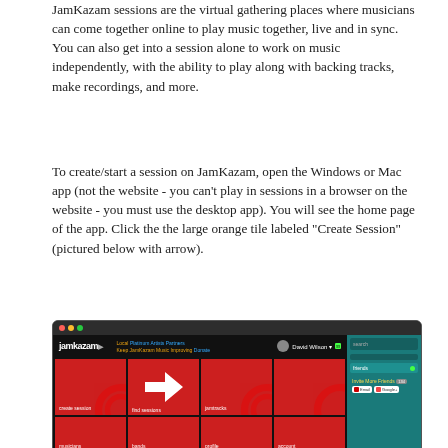JamKazam sessions are the virtual gathering places where musicians can come together online to play music together, live and in sync. You can also get into a session alone to work on music independently, with the ability to play along with backing tracks, make recordings, and more.
To create/start a session on JamKazam, open the Windows or Mac app (not the website - you can't play in sessions in a browser on the website - you must use the desktop app). You will see the home page of the app. Click the the large orange tile labeled "Create Session" (pictured below with arrow).
[Figure (screenshot): Screenshot of the JamKazam desktop application showing the home page with tiles: create session (highlighted with a large white arrow), find sessions, jamtracks, musicians, bands, profile, account. Right sidebar shows search box, friends panel, and invite friends options.]